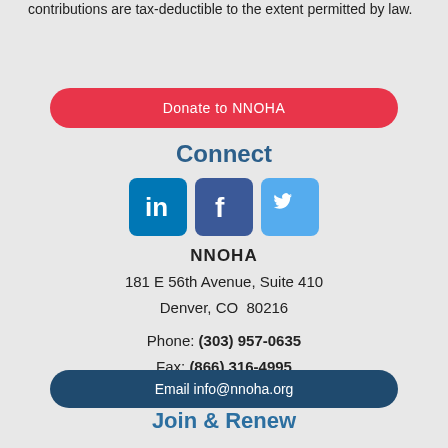contributions are tax-deductible to the extent permitted by law.
Donate to NNOHA
Connect
[Figure (illustration): Three social media icons: LinkedIn (blue square with 'in'), Facebook (dark blue square with 'f'), Twitter (light blue square with bird icon)]
NNOHA
181 E 56th Avenue, Suite 410
Denver, CO  80216
Phone: (303) 957-0635
Fax: (866) 316-4995
Email info@nnoha.org
Join & Renew